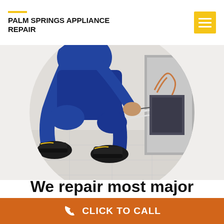PALM SPRINGS APPLIANCE REPAIR
[Figure (photo): A technician in blue work overalls and black boots crouching down to inspect or repair the back of a large appliance (refrigerator), with wires and copper tubing visible. Image is cropped in a circle.]
We repair most major brands, makes, and models
CLICK TO CALL